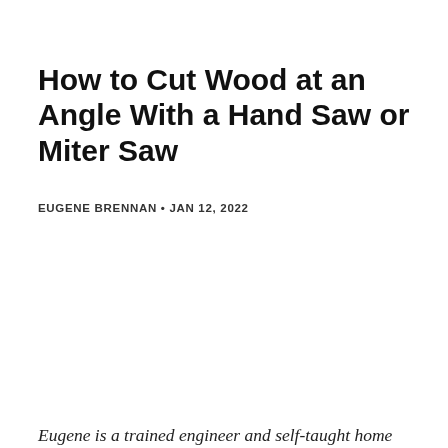How to Cut Wood at an Angle With a Hand Saw or Miter Saw
EUGENE BRENNAN • JAN 12, 2022
Eugene is a trained engineer and self-taught home